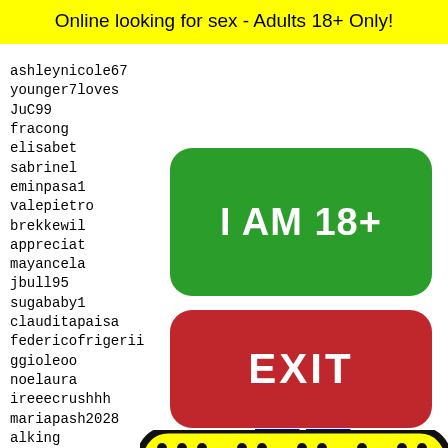Online looking for sex - Adults 18+ Only!
ashleynicole67
younger7loves
JuC99
fracong
elizabeth
sabrinela
eminpasa1
valepietro
brekkewil7
appreciat
mayancela
jbull95
sugababy1
clauditapaisa
federicofrigerii
ggioleoo
noelaura
ireeecrushhh
mariapash2028
alking
luchii
ferrer
lesbic
bolton
aten3a
[Figure (other): Green button with text I AM 18+]
[Figure (other): Red button with text EXIT]
24358 24359 24360 24361 24362
[Figure (illustration): Snapchat ghost logo on yellow background with black border and dots pattern]